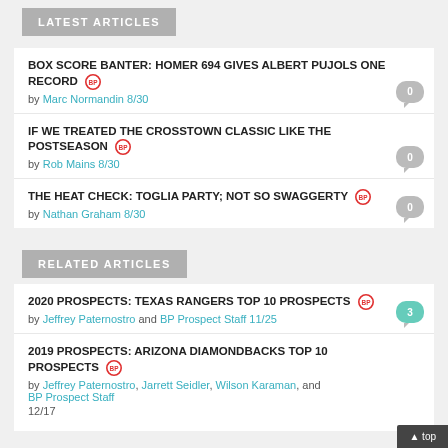LATEST ARTICLES
BOX SCORE BANTER: HOMER 694 GIVES ALBERT PUJOLS ONE RECORD [BP] by Marc Normandin 8/30
IF WE TREATED THE CROSSTOWN CLASSIC LIKE THE POSTSEASON [BP] by Rob Mains 8/30
THE HEAT CHECK: TOGLIA PARTY; NOT SO SWAGGERTY [BP] by Nathan Graham 8/30
RELATED ARTICLES
2020 PROSPECTS: TEXAS RANGERS TOP 10 PROSPECTS [BP] by Jeffrey Paternostro and BP Prospect Staff 11/25
2019 PROSPECTS: ARIZONA DIAMONDBACKS TOP 10 PROSPECTS [BP] by Jeffrey Paternostro, Jarrett Seidler, Wilson Karaman, and BP Prospect Staff 12/17